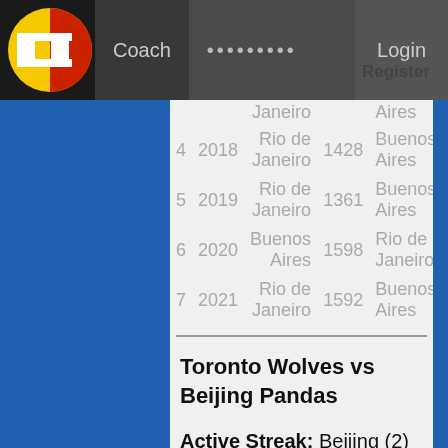FF | Coach | ••••••••• | Login | Register
| 4 | 2018 | Rio de Janeiro | 1428 | Buenos Aires |
| 5 | 2019 | Rio de Janeiro | 1361 | Buenos Aires |
| 6 | 2020 | Buenos Aires | 1598 | Rio de Janeiro |
| 7 | 2021 | Rio de Janeiro | 1592 | Buenos Aires |
Toronto Wolves vs Beijing Pandas
Active Streak: Beijing (2)
Toronto